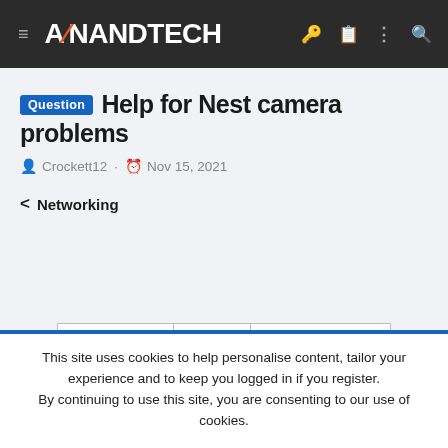AnandTech navigation bar
Question Help for Nest camera problems
Crockett12 · Nov 15, 2021
< Networking
Previous | Next | Sort by votes
This site uses cookies to help personalise content, tailor your experience and to keep you logged in if you register. By continuing to use this site, you are consenting to our use of cookies.